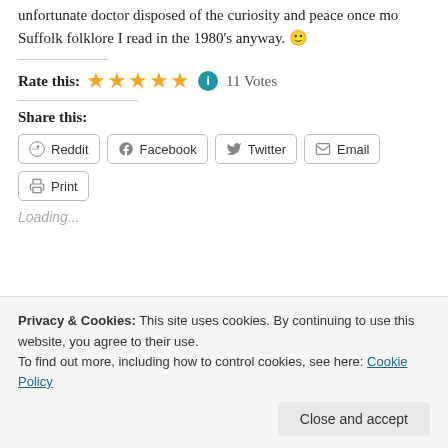unfortunate doctor disposed of the curiosity and peace once more. Suffolk folklore I read in the 1980's anyway. 🙂
Rate this: ★★★★★ ℹ 11 Votes
Share this:
Reddit
Facebook
Twitter
Email
Print
Loading...
Privacy & Cookies: This site uses cookies. By continuing to use this website, you agree to their use.
To find out more, including how to control cookies, see here: Cookie Policy
Close and accept